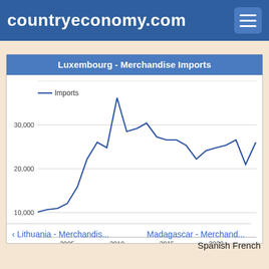countryeconomy.com
[Figure (line-chart): Luxembourg - Merchandise Imports]
‹ Lithuania - Merchandis...
Madagascar - Merchand...
Spanish French